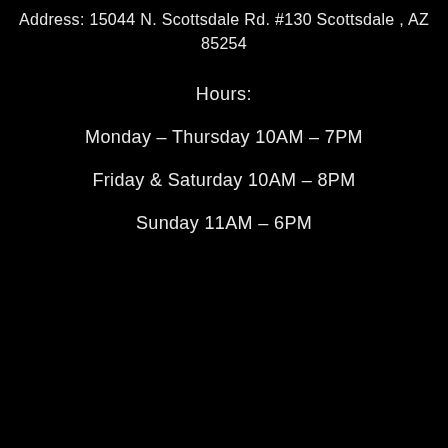Address: 15044 N. Scottsdale Rd. #130 Scottsdale , AZ 85254
Hours:
Monday – Thursday 10AM – 7PM
Friday & Saturday 10AM – 8PM
Sunday 11AM – 6PM